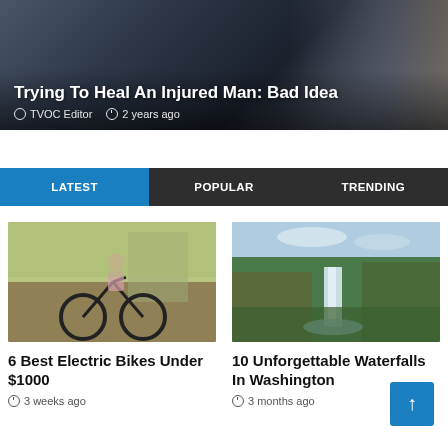[Figure (photo): Hero image of a person in dark clothing, partially visible, with a watch on wrist, dark background. Overlaid with article title and metadata.]
Trying To Heal An Injured Man: Bad Idea
TVOC Editor  2 years ago
LATEST  POPULAR  TRENDING
[Figure (photo): Woman standing next to a black electric bike in an outdoor urban setting with autumn trees and a building in the background.]
6 Best Electric Bikes Under $1000
3 weeks ago
[Figure (photo): Scenic waterfall in a lush green forest landscape in Washington state with cloudy sky.]
10 Unforgettable Waterfalls In Washington
3 months ago